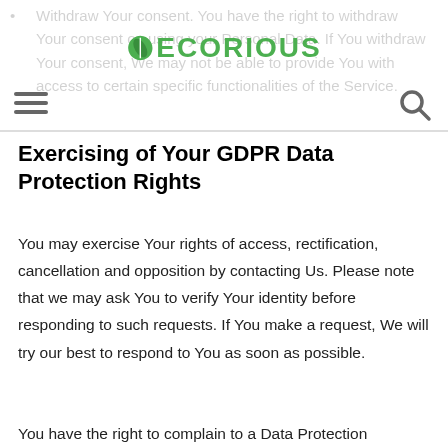ECORIOUS
Withdraw Your consent. You have the right to withdraw Your consent on using your Personal Data. If You withdraw Your consent, We may not be able to provide You with access to certain specific functionalities of the Service.
Exercising of Your GDPR Data Protection Rights
You may exercise Your rights of access, rectification, cancellation and opposition by contacting Us. Please note that we may ask You to verify Your identity before responding to such requests. If You make a request, We will try our best to respond to You as soon as possible.
You have the right to complain to a Data Protection